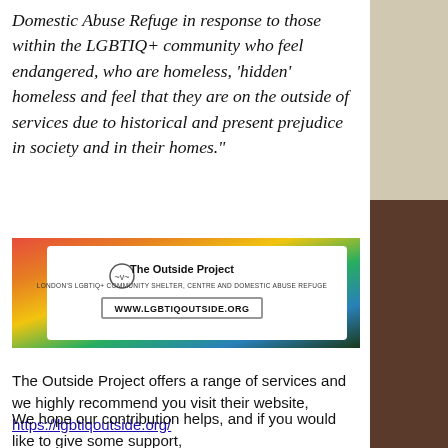Domestic Abuse Refuge in response to those within the LGBTIQ+ community who feel endangered, who are homeless, 'hidden' homeless and feel that they are on the outside of services due to historical and present prejudice in society and in their homes."
[Figure (logo): The Outside Project banner: LONDON'S LGBTIQ+ COMMUNITY SHELTER, CENTRE AND DOMESTIC ABUSE REFUGE with rainbow gradient background and website URL WWW.LGBTIQOUTSIDE.ORG]
The Outside Project offers a range of services and we highly recommend you visit their website, https://lgbtiqoutside.org/
We hope our contribution helps, and if you would like to give some support,